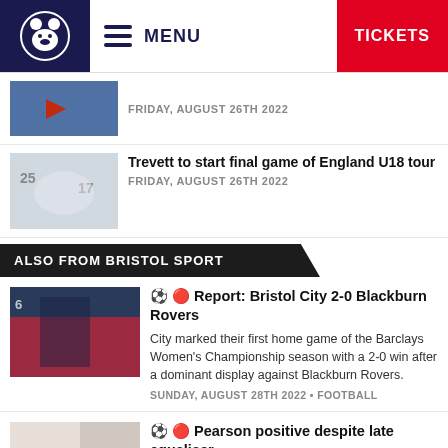MENU | TICKETS
FRIDAY, AUGUST 26TH 2022
Trevett to start final game of England U18 tour
FRIDAY, AUGUST 26TH 2022
ALSO FROM BRISTOL SPORT
⚽ 🔴 Report: Bristol City 2-0 Blackburn Rovers
City marked their first home game of the Barclays Women's Championship season with a 2-0 win after a dominant display against Blackburn Rovers.
SUNDAY, AUGUST 28TH 2022 • FOOTBALL
⚽ 🔴 Pearson positive despite late equaliser
Nigel Pearson believes his side have developed into a dangerous team but acknowledges individual errors cost City at Bloomfield Road